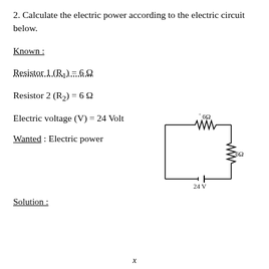2. Calculate the electric power according to the electric circuit below.
Known :
Resistor 1 (R₁) = 6 Ω
Resistor 2 (R₂) = 6 Ω
Electric voltage (V) = 24 Volt
[Figure (circuit-diagram): Series electric circuit with two 6Ω resistors connected in series with a 24V battery source. The top resistor (6Ω) is on the top branch, the second resistor (6Ω) is on the right branch, and a 24V voltage source is on the bottom.]
Wanted : Electric power
Solution :